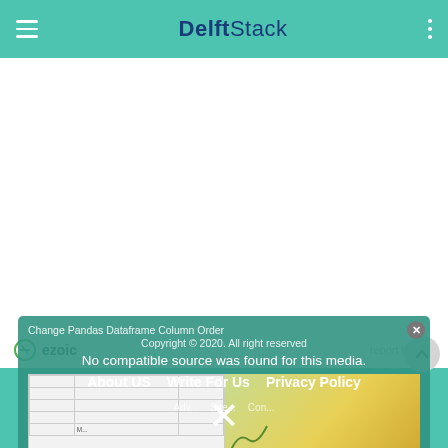DelftStack
[Figure (screenshot): DelftStack website screenshot showing mobile UI with teal navigation bar, white content area with advertisement space, ezoic ad label, scroll-up button, teal footer, and a popup overlay showing 'Change Pandas Dataframe Column Order', copyright notice, 'No compatible source was found for this media.' message, About US / Write For Us / Privacy Policy links, and a partially visible chart image with an X dismiss button.]
ezoic
report this ad
Change Pandas Dataframe Column Order
Copyright © 2020. All right reserved
No compatible source was found for this media.
About US   Write For Us   Privacy Policy